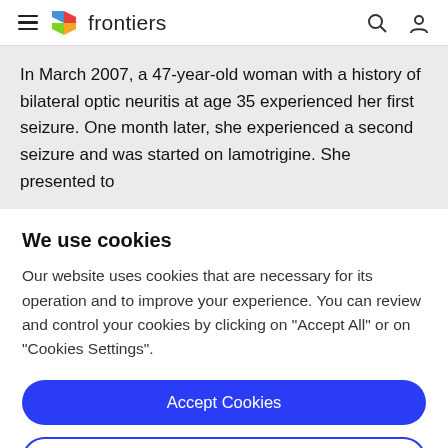frontiers
In March 2007, a 47-year-old woman with a history of bilateral optic neuritis at age 35 experienced her first seizure. One month later, she experienced a second seizure and was started on lamotrigine. She presented to
We use cookies
Our website uses cookies that are necessary for its operation and to improve your experience. You can review and control your cookies by clicking on "Accept All" or on "Cookies Settings".
Accept Cookies
Cookies Settings